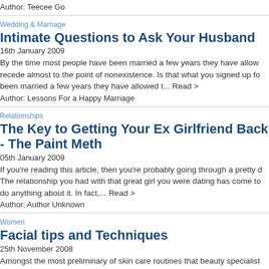Author: Teecee Go
Wedding & Marriage
Intimate Questions to Ask Your Husband
16th January 2009
By the time most people have been married a few years they have allowed... recede almost to the point of nonexistence. Is that what you signed up for... been married a few years they have allowed t... Read >
Author: Lessons For a Happy Marriage
Relationships
The Key to Getting Your Ex Girlfriend Back - The Paint Meth...
05th January 2009
If you're reading this article, then you're probably going through a pretty d... The relationship you had with that great girl you were dating has come to... do anything about it. In fact,... Read >
Author: Author Unknown
Women
Facial tips and Techniques
25th November 2008
Amongst the most preliminary of skin care routines that beauty specialist...